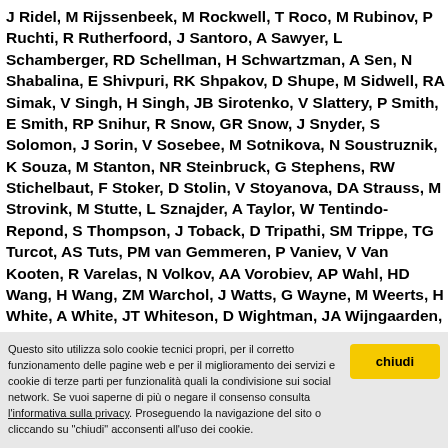J Ridel, M Rijssenbeek, M Rockwell, T Roco, M Rubinov, P Ruchti, R Rutherfoord, J Santoro, A Sawyer, L Schamberger, RD Schellman, H Schwartzman, A Sen, N Shabalina, E Shivpuri, RK Shpakov, D Shupe, M Sidwell, RA Simak, V Singh, H Singh, JB Sirotenko, V Slattery, P Smith, E Smith, RP Snihur, R Snow, GR Snow, J Snyder, S Solomon, J Sorin, V Sosebee, M Sotnikova, N Soustruznik, K Souza, M Stanton, NR Steinbruck, G Stephens, RW Stichelbaut, F Stoker, D Stolin, V Stoyanova, DA Strauss, M Strovink, M Stutte, L Sznajder, A Taylor, W Tentindo-Repond, S Thompson, J Toback, D Tripathi, SM Trippe, TG Turcot, AS Tuts, PM van Gemmeren, P Vaniev, V Van Kooten, R Varelas, N Volkov, AA Vorobiev, AP Wahl, HD Wang, H Wang, ZM Warchol, J Watts, G Wayne, M Weerts, H White, A White, JT Whiteson, D Wightman, JA Wijngaarden, DA Willis, S Wimpenny, SJ Wirjawan, JVD Womersley, J Wood, DR Yamada, R Yamin, P Yasuda, T Yip, K Youssef, S Yu, J Yu, Z Zanabria, M Zheng, H Zhou, Z Zielinski, M Zieminska, D Zieminski, A Zutshi, V Zverev, EG Zylberstejn, A
Questo sito utilizza solo cookie tecnici propri, per il corretto funzionamento delle pagine web e per il miglioramento dei servizi e cookie di terze parti per funzionalità quali la condivisione sui social network. Se vuoi saperne di più o negare il consenso consulta l'informativa sulla privacy. Proseguendo la navigazione del sito o cliccando su "chiudi" acconsenti all'uso dei cookie.